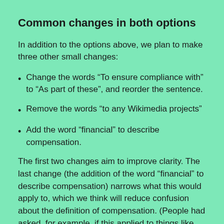Common changes in both options
In addition to the options above, we plan to make three other small changes:
Change the words “To ensure compliance with” to “As part of these”, and reorder the sentence.
Remove the words “to any Wikimedia projects”
Add the word “financial” to describe compensation.
The first two changes aim to improve clarity. The last change (the addition of the word “financial” to describe compensation) narrows what this would apply to, which we think will reduce confusion about the definition of compensation. (People had asked, for example, if this applied to things like students